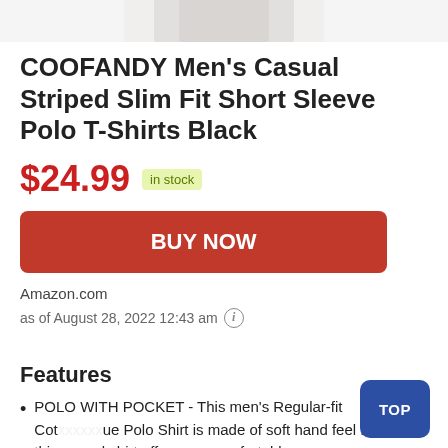[Figure (photo): Partial product image of a polo shirt, cropped at the top]
COOFANDY Men's Casual Striped Slim Fit Short Sleeve Polo T-Shirts Black
$24.99 in stock
BUY NOW
Amazon.com
as of August 28, 2022 12:43 am ℹ
Features
POLO WITH POCKET - This men's Regular-fit Cot…que Polo Shirt is made of soft hand feel fabric, this casual shirt offers you comfortable wear experience;one chest